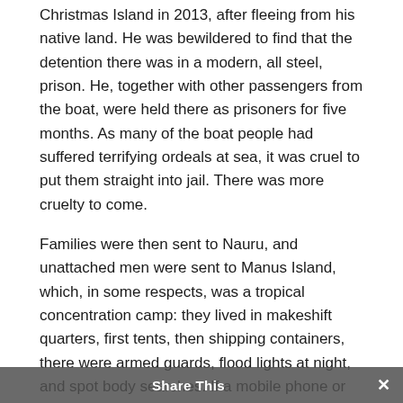Christmas Island in 2013, after fleeing from his native land. He was bewildered to find that the detention there was in a modern, all steel, prison. He, together with other passengers from the boat, were held there as prisoners for five months. As many of the boat people had suffered terrifying ordeals at sea, it was cruel to put them straight into jail. There was more cruelty to come.
Families were then sent to Nauru, and unattached men were sent to Manus Island, which, in some respects, was a tropical concentration camp: they lived in makeshift quarters, first tents, then shipping containers, there were armed guards, flood lights at night, and spot body searches. If a mobile phone or cash were found on anyone, they were put in solitary confinement. But Manus was unlike a concentration camp in that there were Salvation Army personnel for prisoner welfare, the contract for which was worth $74 million to the Salvation Army...
Share This ×